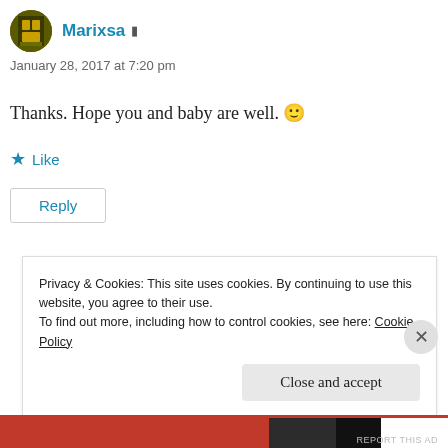Marixsa
January 28, 2017 at 7:20 pm
Thanks. Hope you and baby are well. 🙂
★ Like
Reply
REPORT THIS AD
Privacy & Cookies: This site uses cookies. By continuing to use this website, you agree to their use.
To find out more, including how to control cookies, see here: Cookie Policy
Close and accept